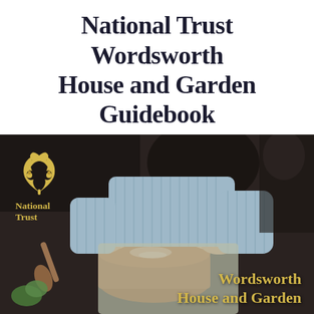National Trust Wordsworth House and Garden Guidebook
[Figure (photo): A person in a blue striped outfit using a wooden sieve to sift flour or powder into a copper pot in a kitchen setting. A National Trust logo with oak leaf motif and the text 'National Trust' appears in the lower left of the image. The text 'Wordsworth House and Garden' appears in yellow in the lower right.]